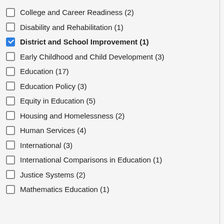College and Career Readiness (2)
Disability and Rehabilitation (1)
District and School Improvement (1)
Early Childhood and Child Development (3)
Education (17)
Education Policy (3)
Equity in Education (5)
Housing and Homelessness (2)
Human Services (4)
International (3)
International Comparisons in Education (1)
Justice Systems (2)
Mathematics Education (1)